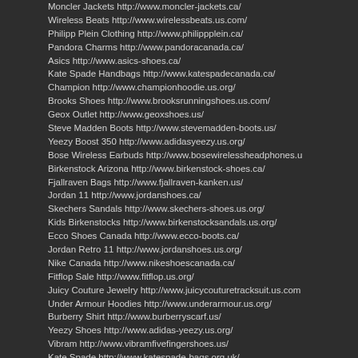Moncler Jackets http://www.moncler-jackets.ca/
Wireless Beats http://www.wirelessbeats.us.com/
Philipp Plein Clothing http://www.philippplein.ca/
Pandora Charms http://www.pandoracanada.ca/
Asics http://www.asics-shoes.ca/
Kate Spade Handbags http://www.katespadecanada.ca/
Champion http://www.championhoodie.us.org/
Brooks Shoes http://www.brooksrunningshoes.us.com/
Geox Outlet http://www.geoxshoes.us/
Steve Madden Boots http://www.stevemadden-boots.us/
Yeezy Boost 350 http://www.adidasyeezy.us.org/
Bose Wireless Earbuds http://www.bosewirelessheadphones.u
Birkenstock Arizona http://www.birkenstock-shoes.ca/
Fjallraven Bags http://www.fjallraven-kanken.us/
Jordan 11 http://www.jordanshoes.ca/
Skechers Sandals http://www.skechers-shoes.us.org/
Kids Birkenstocks http://www.birkenstocksandals.us.org/
Ecco Shoes Canada http://www.ecco-boots.ca/
Jordan Retro 11 http://www.jordanshoes.us.org/
Nike Canada http://www.nikeshoescanada.ca/
Fitflop Sale http://www.fitflop.us.org/
Juicy Couture Jewelry http://www.juicycouturetracksuit.us.com
Under Armour Hoodies http://www.underarmour.us.org/
Burberry Shirt http://www.burberryscarf.us/
Yeezy Shoes http://www.adidas-yeezy.us.org/
Vibram http://www.vibramfivefingershoes.us/
Kate Spade http://www.katespade-bags.org.uk/
Nike Ca http://www.nike-outlet.ca/
Fjallraven http://www.fjallravenkankenbackpack.us.com/
Fila http://www.filatrainers.org.uk/